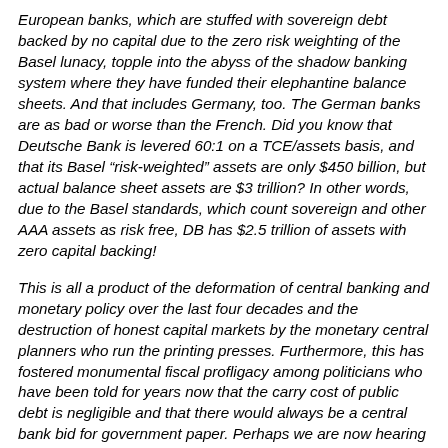European banks, which are stuffed with sovereign debt backed by no capital due to the zero risk weighting of the Basel lunacy, topple into the abyss of the shadow banking system where they have funded their elephantine balance sheets. And that includes Germany, too. The German banks are as bad or worse than the French. Did you know that Deutsche Bank is levered 60:1 on a TCE/assets basis, and that its Basel “risk-weighted” assets are only $450 billion, but actual balance sheet assets are $3 trillion? In other words, due to the Basel standards, which count sovereign and other AAA assets as risk free, DB has $2.5 trillion of assets with zero capital backing!
This is all a product of the deformation of central banking and monetary policy over the last four decades and the destruction of honest capital markets by the monetary central planners who run the printing presses. Furthermore, this has fostered monumental fiscal profligacy among politicians who have been told for years now that the carry cost of public debt is negligible and that there would always be a central bank bid for government paper. Perhaps we are now hearing the sound of some chickens coming home to roost.